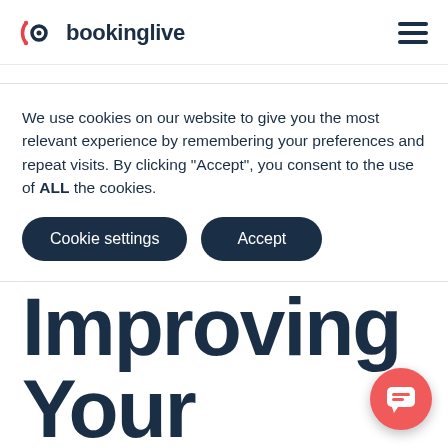bookinglive
We use cookies on our website to give you the most relevant experience by remembering your preferences and repeat visits. By clicking “Accept”, you consent to the use of ALL the cookies.
Cookie settings | Accept
Improving Your Customers'